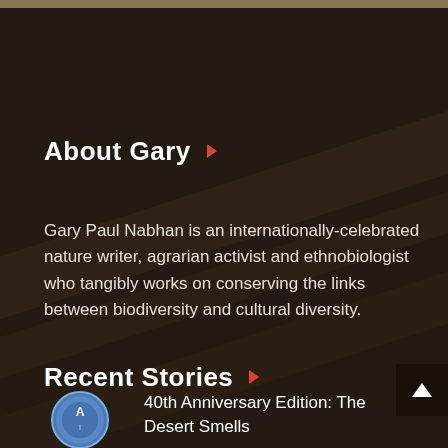About Gary
Gary Paul Nabhan is an internationally-celebrated nature writer, agrarian activist and ethnobiologist who tangibly works on conserving the links between biodiversity and cultural diversity.
Recent Stories
[Figure (logo): Circular blue and grey logo thumbnail for a story]
40th Anniversary Edition: The Desert Smells